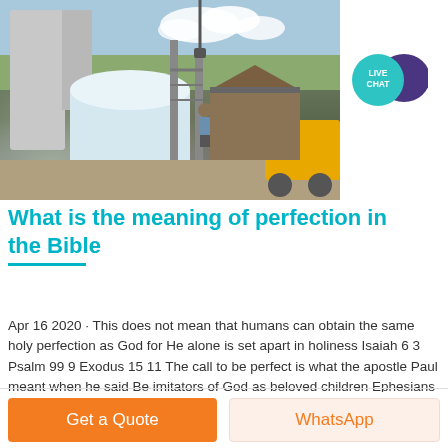[Figure (photo): Industrial/construction site photo showing large machinery, silos, metal scaffolding with a person standing on it, and yellow construction equipment. Blue sky with clouds in background.]
[Figure (logo): Live Chat badge - teal circular button with text LIVE CHAT and a dark purple speech bubble icon]
What is the meaning of perfection in the Bible
Apr 16 2020 · This does not mean that humans can obtain the same holy perfection as God for He alone is set apart in holiness Isaiah 6 3 Psalm 99 9 Exodus 15 11 The call to be perfect is what the apostle Paul meant when he said Be imitators of God as beloved children Ephesians 5 1 ESV
Get a Quote
WhatsApp